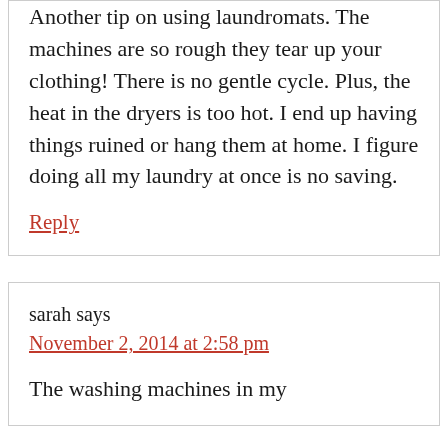Another tip on using laundromats. The machines are so rough they tear up your clothing! There is no gentle cycle. Plus, the heat in the dryers is too hot. I end up having things ruined or hang them at home. I figure doing all my laundry at once is no saving.
Reply
sarah says
November 2, 2014 at 2:58 pm
The washing machines in my